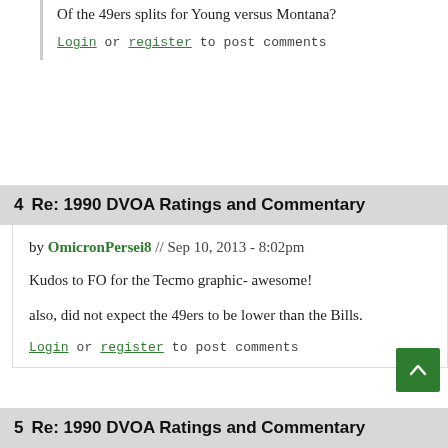Of the 49ers splits for Young versus Montana?
Login or register to post comments
4  Re: 1990 DVOA Ratings and Commentary
by OmicronPersei8 // Sep 10, 2013 - 8:02pm
Kudos to FO for the Tecmo graphic- awesome!
also, did not expect the 49ers to be lower than the Bills.
Login or register to post comments
5  Re: 1990 DVOA Ratings and Commentary